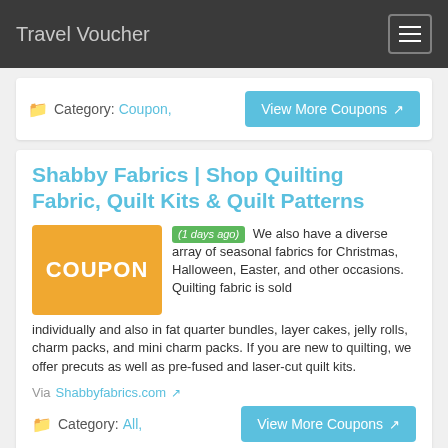Travel Voucher
Category: Coupon,
View More Coupons
Shabby Fabrics | Shop Quilting Fabric, Quilt Kits & Quilt Patterns
(1 days ago) We also have a diverse array of seasonal fabrics for Christmas, Halloween, Easter, and other occasions. Quilting fabric is sold individually and also in fat quarter bundles, layer cakes, jelly rolls, charm packs, and mini charm packs. If you are new to quilting, we offer precuts as well as pre-fused and laser-cut quilt kits.
Via Shabbyfabrics.com
Category: All,
View More Coupons